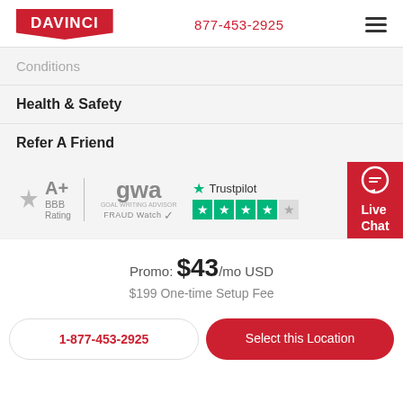DAVINCI  877-453-2925
Conditions
Health & Safety
Refer A Friend
[Figure (logo): BBB A+ Rating badge, GWA Fraud Watch badge, Trustpilot 4-star rating badge, Live Chat button]
Promo: $43/mo USD
$199 One-time Setup Fee
1-877-453-2925
Select this Location